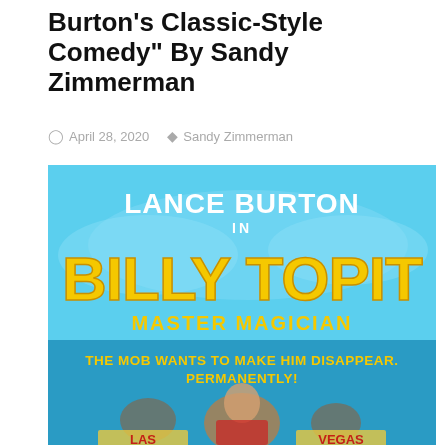Burton's Classic-Style Comedy" By Sandy Zimmerman
April 28, 2020  Sandy Zimmerman
[Figure (illustration): Movie poster for 'Billy Topit Master Magician' featuring Lance Burton. Blue background with large yellow stylized text 'BILLY TOPIT', white text 'LANCE BURTON IN' and 'MASTER MAGICIAN', yellow text 'THE MOB WANTS TO MAKE HIM DISAPPEAR. PERMANENTLY!', showing a man in a suit near a Las Vegas sign at the bottom.]